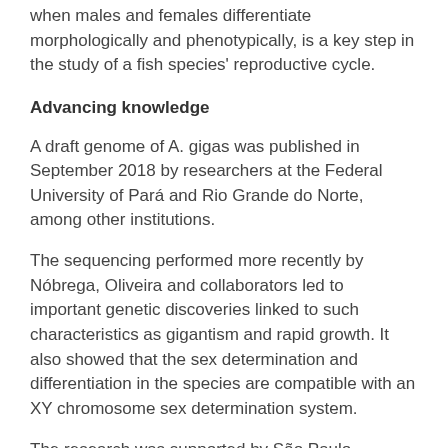when males and females differentiate morphologically and phenotypically, is a key step in the study of a fish species' reproductive cycle.
Advancing knowledge
A draft genome of A. gigas was published in September 2018 by researchers at the Federal University of Pará and Rio Grande do Norte, among other institutions.
The sequencing performed more recently by Nóbrega, Oliveira and collaborators led to important genetic discoveries linked to such characteristics as gigantism and rapid growth. It also showed that the sex determination and differentiation in the species are compatible with an XY chromosome sex determination system.
The research was supported by São Paulo Research Foundation - FAPESP via a regular grant awarded to Nóbrega and a PhD grant awarded to Oliveira.